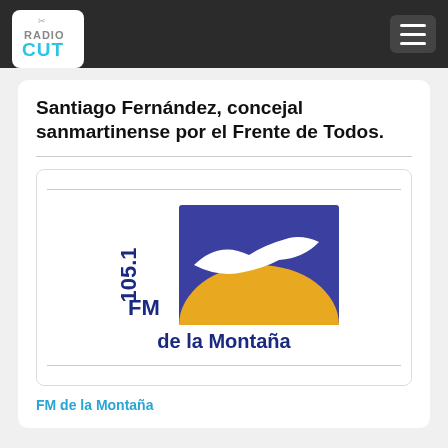RadioCut
Santiago Fernández, concejal sanmartinense por el Frente de Todos.
[Figure (logo): FM de la Montaña 105.1 radio station logo: blue square background with a gold/yellow rising sun and white bird silhouette, with text '105.1 FM de la Montaña' in dark blue]
FM de la Montaña